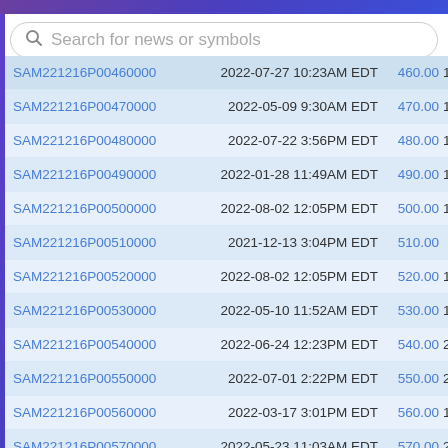Search for news or symbols
| Symbol | Last Trade Date | Strike |  |
| --- | --- | --- | --- |
| SAM221216P00460000 | 2022-07-27 10:23AM EDT | 460.00 | 1 |
| SAM221216P00470000 | 2022-05-09 9:30AM EDT | 470.00 | 1 |
| SAM221216P00480000 | 2022-07-22 3:56PM EDT | 480.00 | 1 |
| SAM221216P00490000 | 2022-01-28 11:49AM EDT | 490.00 | 1 |
| SAM221216P00500000 | 2022-08-02 12:05PM EDT | 500.00 | 1 |
| SAM221216P00510000 | 2021-12-13 3:04PM EDT | 510.00 |  |
| SAM221216P00520000 | 2022-08-02 12:05PM EDT | 520.00 | 1 |
| SAM221216P00530000 | 2022-05-10 11:52AM EDT | 530.00 | 1 |
| SAM221216P00540000 | 2022-06-24 12:23PM EDT | 540.00 | 2 |
| SAM221216P00550000 | 2022-07-01 2:22PM EDT | 550.00 | 2 |
| SAM221216P00560000 | 2022-03-17 3:01PM EDT | 560.00 | 1 |
| SAM221216P00570000 | 2022-05-23 11:03AM EDT | 570.00 | 2 |
| SAM221216P00580000 | 2022-05-27 10:17AM EDT | 580.00 |  |